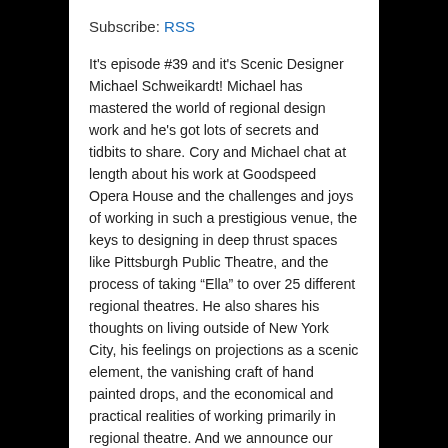Subscribe: RSS
It's episode #39 and it's Scenic Designer Michael Schweikardt! Michael has mastered the world of regional design work and he's got lots of secrets and tidbits to share. Cory and Michael chat at length about his work at Goodspeed Opera House and the challenges and joys of working in such a prestigious venue, the keys to designing in deep thrust spaces like Pittsburgh Public Theatre, and the process of taking “Ella” to over 25 different regional theatres. He also shares his thoughts on living outside of New York City, his feelings on projections as a scenic element, the vanishing craft of hand painted drops, and the economical and practical realities of working primarily in regional theatre. And we announce our first ever LIVE podcast recording on April 20th in the theatre district. Come be a part of the show you (hopefully) love!
Michael Schweikrdt designed the world premiere of the new Duncan Sheik/Kyle Jarrow musical